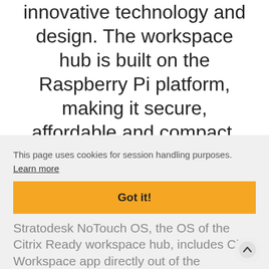innovative technology and design. The workspace hub is built on the Raspberry Pi platform, making it secure, affordable and compact. Meanwhile, it is Stratodesk's software that makes the workspace hub a truly disruptive IoT endpoint for the enterprise.
This page uses cookies for session handling purposes.  Learn more
Got it!
Stratodesk NoTouch OS, the OS of the Citrix Ready workspace hub, includes Citrix Workspace app directly out of the